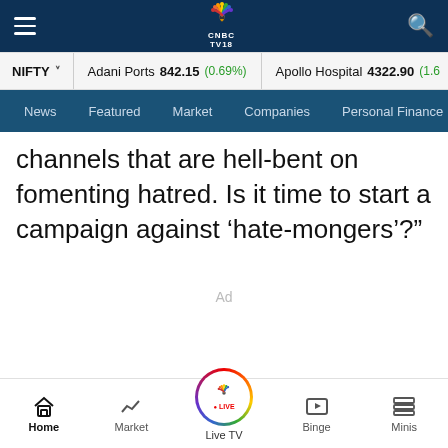CNBC TV18 navigation bar with hamburger menu, CNBC TV18 logo, and search icon
NIFTY ▾  Adani Ports 842.15 (0.69%)  Apollo Hospital 4322.90 (1.6...)
News  Featured  Market  Companies  Personal Finance
channels that are hell-bent on fomenting hatred. Is it time to start a campaign against 'hate-mongers'?"
Ad
Home  Market  Live TV  Binge  Minis